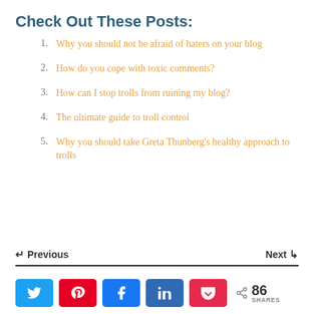Check Out These Posts:
1. Why you should not be afraid of haters on your blog
2. How do you cope with toxic comments?
3. How can I stop trolls from ruining my blog?
4. The ultimate guide to troll control
5. Why you should take Greta Thunberg's healthy approach to trolls
Previous   Next
< 86 SHARES